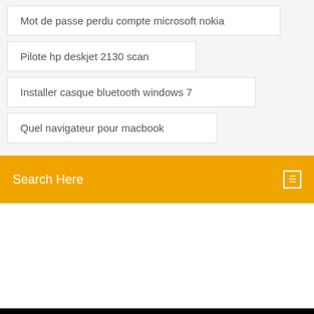Mot de passe perdu compte microsoft nokia
Pilote hp deskjet 2130 scan
Installer casque bluetooth windows 7
Quel navigateur pour macbook
Search Here
Photography blog
Photomedia